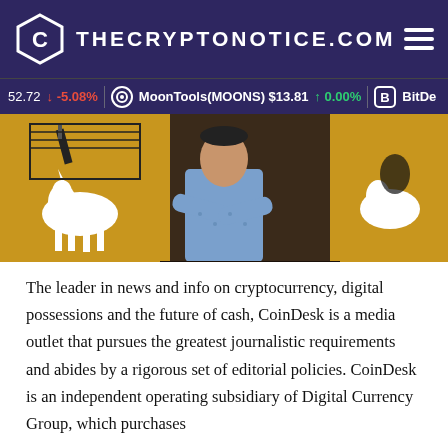THECRYPTONOTICE.COM
52.72 -5.08% MoonTools(MOONS) $13.81 0.00% BitDe
[Figure (photo): A man in a blue patterned shirt standing with arms crossed, flanked by heraldic coat-of-arms imagery with a yellow background featuring a white unicorn.]
The leader in news and info on cryptocurrency, digital possessions and the future of cash, CoinDesk is a media outlet that pursues the greatest journalistic requirements and abides by a rigorous set of editorial policies. CoinDesk is an independent operating subsidiary of Digital Currency Group, which purchases